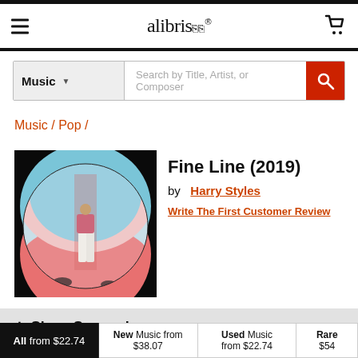alibris
Music ▼ Search by Title, Artist, or Composer
Music / Pop /
[Figure (photo): Album cover for Fine Line by Harry Styles — a figure in white pants and pink top standing inside a large pink and blue circular sphere shape]
Fine Line (2019)
by  Harry Styles
Write The First Customer Review
+ Show Synopsis
| All from $22.74 | New Music from $38.07 | Used Music from $22.74 | Rare $54 |
| --- | --- | --- | --- |